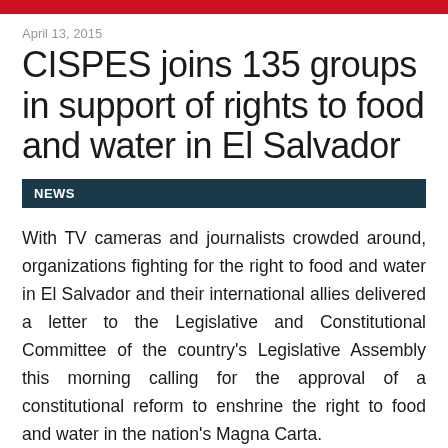April 13, 2015
CISPES joins 135 groups in support of rights to food and water in El Salvador
NEWS
With TV cameras and journalists crowded around, organizations fighting for the right to food and water in El Salvador and their international allies delivered a letter to the Legislative and Constitutional Committee of the country's Legislative Assembly this morning calling for the approval of a constitutional reform to enshrine the right to food and water in the nation's Magna Carta.